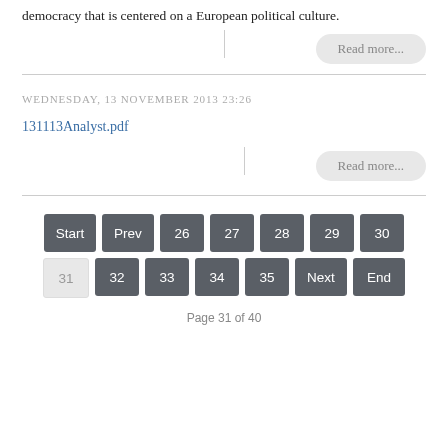democracy that is centered on a European political culture.
Read more...
WEDNESDAY, 13 NOVEMBER 2013 23:26
131113Analyst.pdf
Read more...
Page 31 of 40